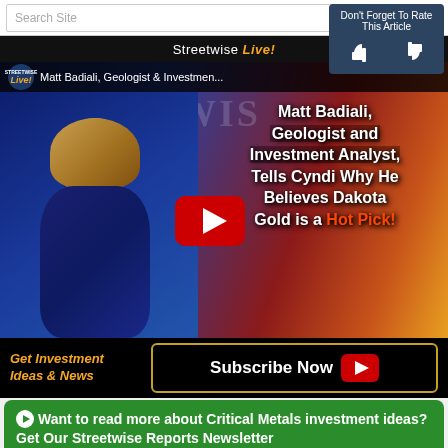[Figure (screenshot): Search bar with text 'Search Site' and magnifying glass icon]
Don't Forget To Rate This Article
[Figure (screenshot): Streetwise Live video thumbnail featuring Matt Badiali, Geologist and Investment Analyst, telling Cyndi why he believes Dakota Gold is a Hot Pick! With YouTube play button overlay.]
Get Investment Ideas & News
Subscribe Now
Want to read more about Critical Metals investment ideas? Get Our Streetwise Reports Newsletter